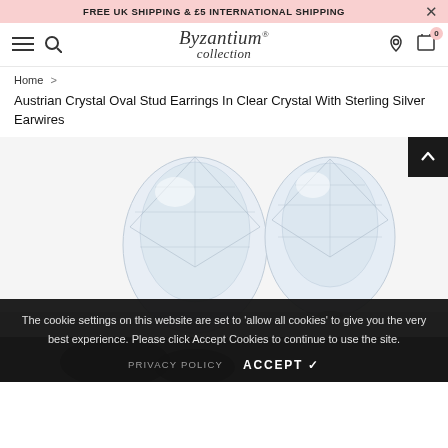FREE UK SHIPPING & £5 INTERNATIONAL SHIPPING
[Figure (screenshot): Byzantium Collection logo in cursive script]
Home > Austrian Crystal Oval Stud Earrings In Clear Crystal With Sterling Silver Earwires
Austrian Crystal Oval Stud Earrings In Clear Crystal With Sterling Silver Earwires
[Figure (photo): Two clear oval Austrian crystal gemstones photographed on white background]
The cookie settings on this website are set to 'allow all cookies' to give you the very best experience. Please click Accept Cookies to continue to use the site.
PRIVACY POLICY   ACCEPT ✓